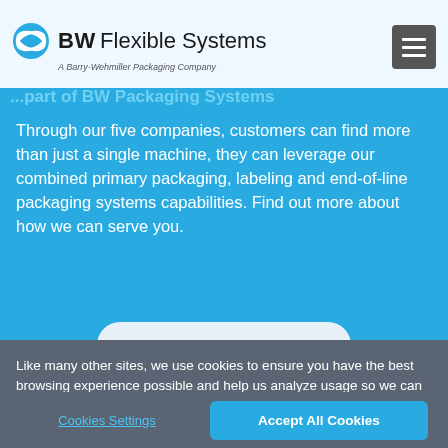BW Flexible Systems — A Barry-Wehmiller Packaging Company
Through our five companies, customers can find more than just a single machine, they can leverage our combined primary packaging, labeling and end-of-line packaging systems capabilities. Find out more about how we can serve you.
CONTACT US >
Like many other sites, we use cookies to ensure you have the best browsing experience possible and help us analyze usage so we can make our site better. Rest assured, the cookies we use do not collect any personal information from you. If you continue without changing your settings, we'll assume you are happy to receive them. Our Cookie Policy
Cookies Settings | Accept All Cookies